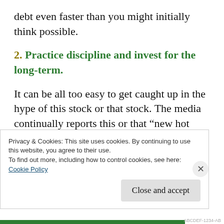debt even faster than you might initially think possible.
2. Practice discipline and invest for the long-term.
It can be all too easy to get caught up in the hype of this stock or that stock. The media continually reports this or that “new hot stock.” Don’t fall for the trap. It is always better to diversify your investments and not get
Privacy & Cookies: This site uses cookies. By continuing to use this website, you agree to their use.
To find out more, including how to control cookies, see here:
Cookie Policy
Close and accept